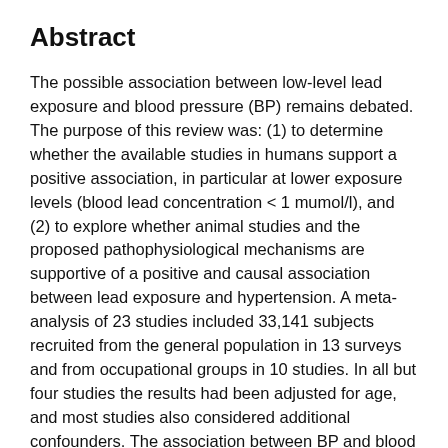Abstract
The possible association between low-level lead exposure and blood pressure (BP) remains debated. The purpose of this review was: (1) to determine whether the available studies in humans support a positive association, in particular at lower exposure levels (blood lead concentration < 1 mumol/l), and (2) to explore whether animal studies and the proposed pathophysiological mechanisms are supportive of a positive and causal association between lead exposure and hypertension. A meta-analysis of 23 studies included 33,141 subjects recruited from the general population in 13 surveys and from occupational groups in 10 studies. In all but four studies the results had been adjusted for age, and most studies also considered additional confounders. The association between BP and blood lead was similar in both sexes. In all 23 studies combined, a two-fold increase in blood lead